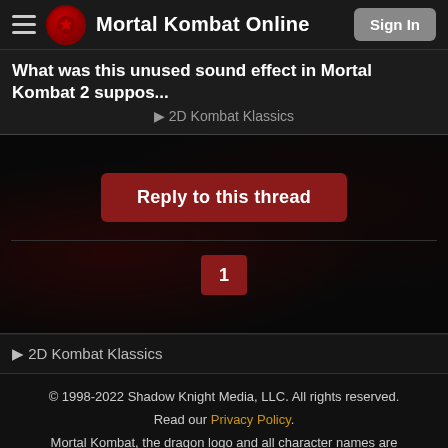Mortal Kombat Online | Sign In
What was this unused sound effect in Mortal Kombat 2 suppos...
2D Kombat Klassics
Reply to this thread
1
2D Kombat Klassics
© 1998-2022 Shadow Knight Media, LLC. All rights reserved. Read our Privacy Policy. Mortal Kombat, the dragon logo and all character names are trademarks and copyright of Warner Bros. Entertainment Inc.